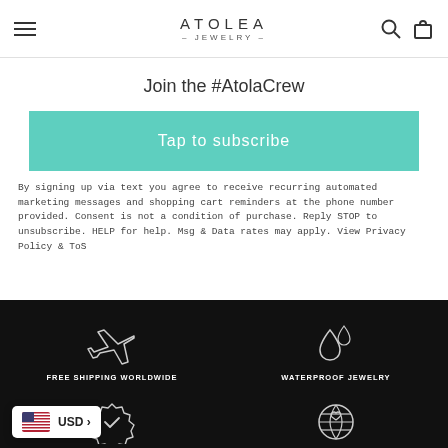ATOLEA JEWELRY
Join the #AtolaCrew
Tap to subscribe
By signing up via text you agree to receive recurring automated marketing messages and shopping cart reminders at the phone number provided. Consent is not a condition of purchase. Reply STOP to unsubscribe. HELP for help. Msg & Data rates may apply. View Privacy Policy & ToS
[Figure (infographic): Black footer section with four icons: airplane (FREE SHIPPING WORLDWIDE), water drops (WATERPROOF JEWELRY), badge checkmark (SUPPORT), globe heart (ECO-FRIENDLY PACKAGING)]
USD >